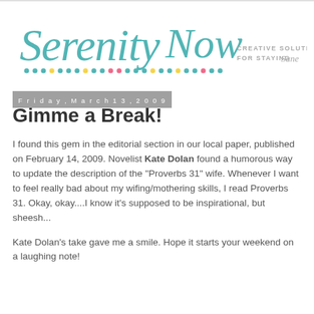[Figure (logo): Serenity Now blog logo with cursive teal text 'Serenity Now' and colorful dots beneath it, with tagline 'CREATIVE SOLUTIONS FOR STAYING Sane' in gray serif text to the right]
Friday, March 13, 2009
Gimme a Break!
I found this gem in the editorial section in our local paper, published on February 14, 2009. Novelist Kate Dolan found a humorous way to update the description of the "Proverbs 31" wife. Whenever I want to feel really bad about my wifing/mothering skills, I read Proverbs 31. Okay, okay....I know it's supposed to be inspirational, but sheesh...
Kate Dolan's take gave me a smile. Hope it starts your weekend on a laughing note!